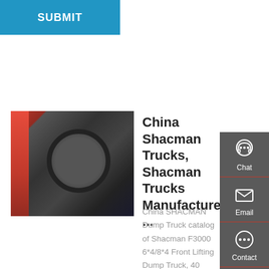[Figure (screenshot): Blue submit button bar at top left of page]
[Figure (photo): Interior of a Shacman truck cab showing steering wheel, dashboard with gauges, red door panel on left side]
China Shacman Trucks, Shacman Trucks Manufacturers, ...
China SHACMAN Dump Truck catalog of Shacman F3000 6*4/8*4 Front Lifting Dump Truck, 40 Tons Beiben 8*4 Tipper Dump Truck provided by China manufacturer - CIMC VEHICLES